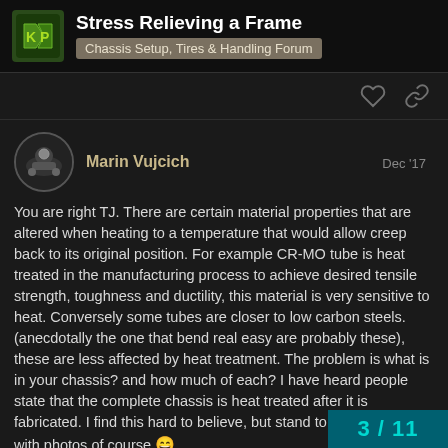Stress Relieving a Frame — Chassis Setup, Tires & Handling Forum
Marin Vujcich  Dec '17
You are right TJ. There are certain material properties that are altered when heating to a temperature that would allow creep back to its original position. For example CR-MO tube is heat treated in the manufacturing process to achieve desired tensile strength, toughness and ductility, this material is very sensitive to heat. Conversely some tubes are closer to low carbon steels. (anecdotally the one that bend real easy are probably these), these are less affected by heat treatment. The problem is what is in your chassis? and how much of each? I have heard people state that the complete chassis is heat treated after it is fabricated. I find this hard to believe, but stand to be corrected, with photos of course 😄
3 / 11